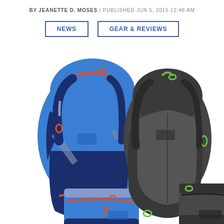BY JEANETTE D. MOSES | PUBLISHED JUN 5, 2015 12:48 AM
NEWS
GEAR & REVIEWS
[Figure (photo): Two camera backpacks (one blue, one gray/black) each shown with a matching camera bag/insert in front. The blue backpack is on the left and the dark gray backpack is on the right, both appear to be MindShift Gear or Think Tank Photo brand hiking/photography backpacks.]